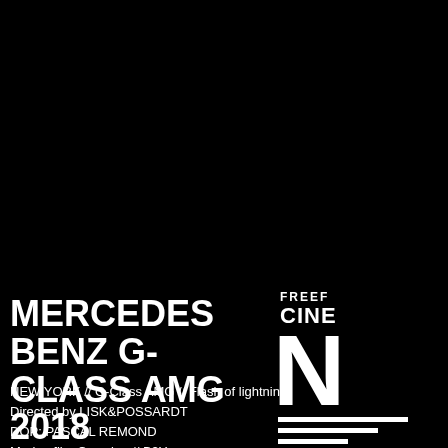MERCEDES BENZ G-CLASS AMG 2018
NEW YORK // G-Class AMG // Flash of lightning
Directed by LISK&POSSARDT
DOP: PASCAL REMOND
Markenfilm Crossing // B2Y
[Figure (logo): FREEF... CINE... logo with large stylized N letterform and horizontal lines, white on black background, partially cropped at right edge]